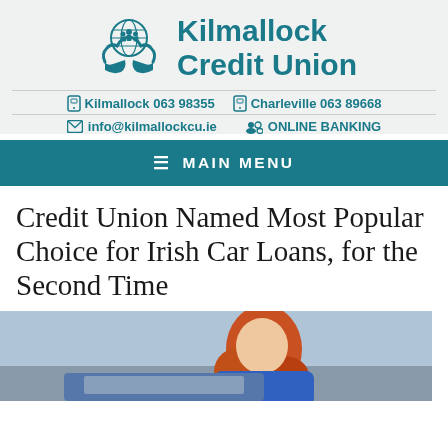[Figure (logo): Kilmallock Credit Union logo: hands holding a globe with family silhouettes, teal color]
Kilmallock Credit Union
Kilmallock 063 98355   Charleville 063 89668
info@kilmallockcu.ie   ONLINE BANKING
≡ MAIN MENU
Credit Union Named Most Popular Choice for Irish Car Loans, for the Second Time
[Figure (photo): Young woman with red curly hair in blue top leaning on a car, smiling]